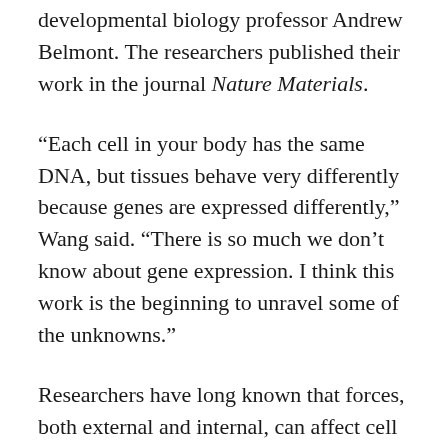developmental biology professor Andrew Belmont. The researchers published their work in the journal Nature Materials.
“Each cell in your body has the same DNA, but tissues behave very differently because genes are expressed differently,” Wang said. “There is so much we don’t know about gene expression. I think this work is the beginning to unravel some of the unknowns.”
Researchers have long known that forces, both external and internal, can affect cell behavior. But the question loomed as to whether the forces themselves triggered changes in gene expression, or if the forces triggered a chemical-signaling pathway within the cell